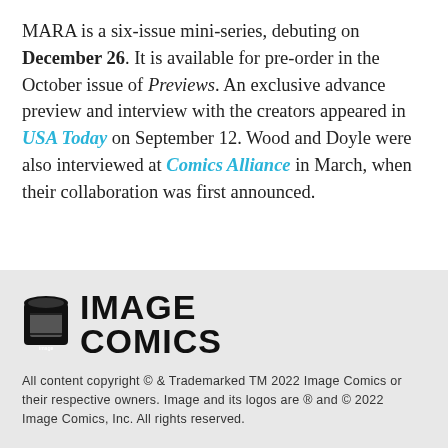MARA is a six-issue mini-series, debuting on December 26. It is available for pre-order in the October issue of Previews. An exclusive advance preview and interview with the creators appeared in USA Today on September 12. Wood and Doyle were also interviewed at Comics Alliance in March, when their collaboration was first announced.
[Figure (logo): Image Comics logo: a black cylindrical/capsule icon on the left with small 'image' text, next to bold black text reading IMAGE on top and COMICS below]
All content copyright © & Trademarked TM 2022 Image Comics or their respective owners. Image and its logos are ® and © 2022 Image Comics, Inc. All rights reserved.